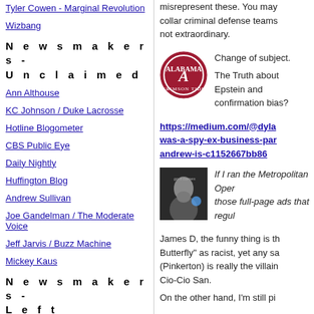Tyler Cowen - Marginal Revolution
Wizbang
N e w s m a k e r s - U n c l a i m e d
Ann Althouse
KC Johnson / Duke Lacrosse
Hotline Blogometer
CBS Public Eye
Daily Nightly
Huffington Blog
Andrew Sullivan
Joe Gandelman / The Moderate Voice
Jeff Jarvis / Buzz Machine
Mickey Kaus
N e w s m a k e r s - L e f t
Blog For America (And Dean)
misrepresent these. You may collar criminal defense teams not extraordinary.
[Figure (photo): Alabama Crimson Tide logo - circular red logo with letter A]
Change of subject.
The Truth about Epstein and confirmation bias?
https://medium.com/@dyla was-a-spy-ex-business-par andrew-is-c1152667bb86
[Figure (photo): Black and white photo of bearded man]
If I ran the Metropolitan Oper those full-page ads that regul
James D, the funny thing is th Butterfly" as racist, yet any sa (Pinkerton) is really the villain Cio-Cio San.
On the other hand, I'm still pi